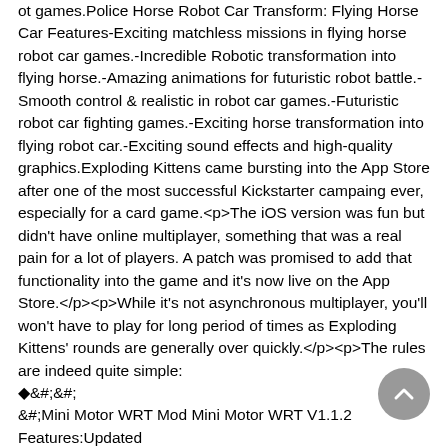ot games.Police Horse Robot Car Transform: Flying Horse Car Features-Exciting matchless missions in flying horse robot car games.-Incredible Robotic transformation into flying horse.-Amazing animations for futuristic robot battle.-Smooth control & realistic in robot car games.-Futuristic robot car fighting games.-Exciting horse transformation into flying robot car.-Exciting sound effects and high-quality graphics.Exploding Kittens came bursting into the App Store after one of the most successful Kickstarter campaing ever, especially for a card game.<p>The iOS version was fun but didn't have online multiplayer, something that was a real pain for a lot of players. A patch was promised to add that functionality into the game and it's now live on the App Store.</p><p>While it's not asynchronous multiplayer, you'll won't have to play for long period of times as Exploding Kittens' rounds are generally over quickly.</p><p>The rules are indeed quite simple:
&#;&amp;#;
&#;Mini Motor WRT Mod Mini Motor WRT V1.1.2 Features:Updated